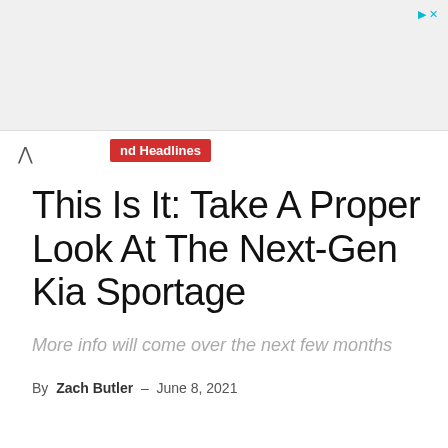nd Headlines
This Is It: Take A Proper Look At The Next-Gen Kia Sportage
More info will come over the next few months
By Zach Butler - June 8, 2021